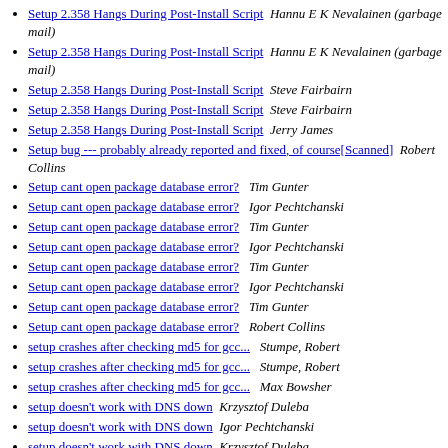Setup 2.358 Hangs During Post-Install Script  Hannu E K Nevalainen (garbage mail)
Setup 2.358 Hangs During Post-Install Script  Hannu E K Nevalainen (garbage mail)
Setup 2.358 Hangs During Post-Install Script  Steve Fairbairn
Setup 2.358 Hangs During Post-Install Script  Steve Fairbairn
Setup 2.358 Hangs During Post-Install Script  Jerry James
Setup bug --- probably already reported and fixed, of course[Scanned]  Robert Collins
Setup cant open package database error?  Tim Gunter
Setup cant open package database error?  Igor Pechtchanski
Setup cant open package database error?  Tim Gunter
Setup cant open package database error?  Igor Pechtchanski
Setup cant open package database error?  Tim Gunter
Setup cant open package database error?  Igor Pechtchanski
Setup cant open package database error?  Tim Gunter
Setup cant open package database error?  Robert Collins
setup crashes after checking md5 for gcc...  Stumpe, Robert
setup crashes after checking md5 for gcc...  Stumpe, Robert
setup crashes after checking md5 for gcc...  Max Bowsher
setup doesn't work with DNS down  Krzysztof Duleba
setup doesn't work with DNS down  Igor Pechtchanski
setup doesn't work with DNS down  Krzysztof Duleba